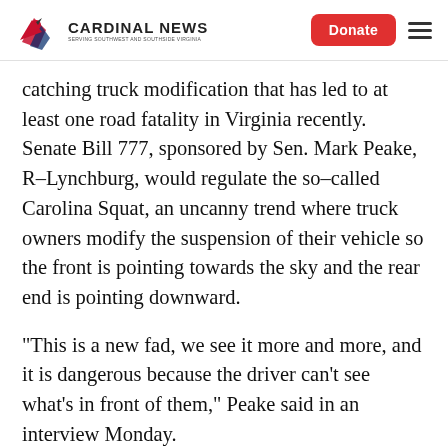CARDINAL NEWS
catching truck modification that has led to at least one road fatality in Virginia recently. Senate Bill 777, sponsored by Sen. Mark Peake, R–Lynchburg, would regulate the so–called Carolina Squat, an uncanny trend where truck owners modify the suspension of their vehicle so the front is pointing towards the sky and the rear end is pointing downward.
“This is a new fad, we see it more and more, and it is dangerous because the driver can’t see what’s in front of them,” Peake said in an interview Monday.